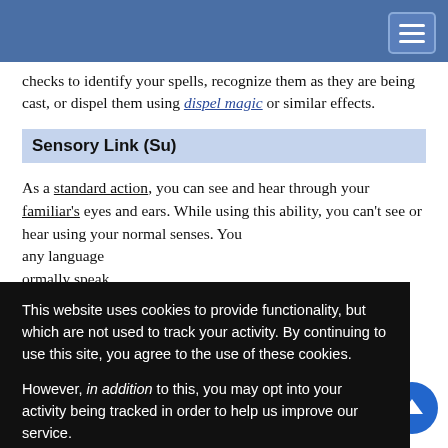checks to identify your spells, recognize them as they are being cast, or dispel them using dispel magic or similar effects.
Sensory Link (Su)
As a standard action, you can see and hear through your familiar's eyes and ears. While using this ability, you can't see or hear using your normal senses. You ... any language ... ormally speak. ... r own senses ... u can expend ... ell and have it ... f you. You ... ity.
This website uses cookies to provide functionality, but which are not used to track your activity. By continuing to use this site, you agree to the use of these cookies.

However, in addition to this, you may opt into your activity being tracked in order to help us improve our service.

For more information, please click here